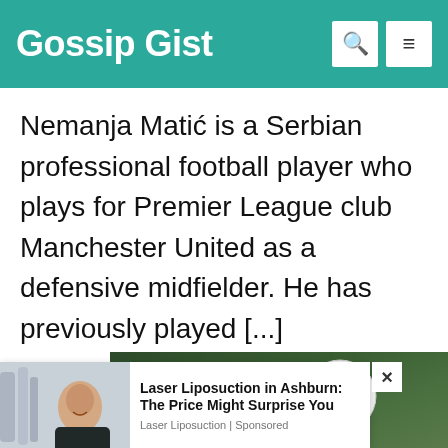Gossip Gist
Nemanja Matić is a Serbian professional football player who plays for Premier League club Manchester United as a defensive midfielder. He has previously played [...]
[Figure (photo): Green background with a soccer ball, partial photo strip]
[Figure (photo): Ad image showing a person in a medical/clinical setting]
Laser Liposuction in Ashburn: The Price Might Surprise You
Laser Liposuction | Sponsored